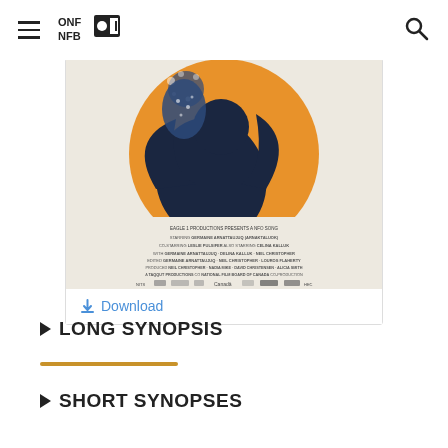NFB/ONF logo and search icon navigation header
[Figure (illustration): Film poster for a National Film Board of Canada documentary. Features an orange circle with a dark bird (raven) silhouette and a figure on a dotted/starry background. Credits text lists: GERMAINE ARNATTAUJUQ (ARNAKTALUOK), LESLIE PULSIFER, CELINA KALLUK, NEIL CHRISTOPHER, GERMAINE ARNATTAUJUQ DELINA KALLUK NEIL CHRISTOPHER, GERMAINE ARNATTAUJUQ NEIL CHRISTOPHER LOUROS FLAHERTY, NEIL CHRISTOPHER NADIA MIKE DAVID CHRISTENSEN ALICIA SMITH, TAQQUT PRODUCTIONS, NATIONAL FILM BOARD OF CANADA. Various funding logos at bottom.]
Download
LONG SYNOPSIS
SHORT SYNOPSES